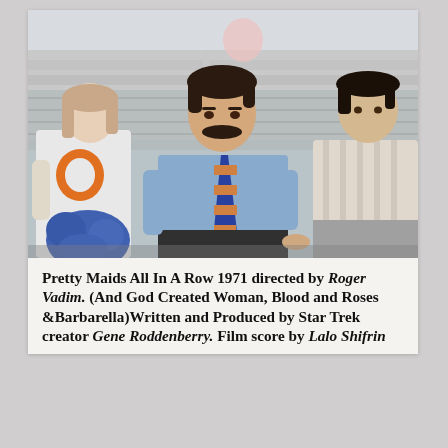[Figure (photo): A man with a mustache wearing a light blue shirt and a striped tie sits on bleachers between a young woman in a cheerleader outfit with a blue pom-pom on the left and a young man in a striped shirt on the right. Chain-link fence and bleachers in background.]
Pretty Maids All In A Row 1971 directed by Roger Vadim. (And God Created Woman, Blood and Roses &Barbarella)Written and Produced by Star Trek creator Gene Roddenberry. Film score by Lalo Shifrin